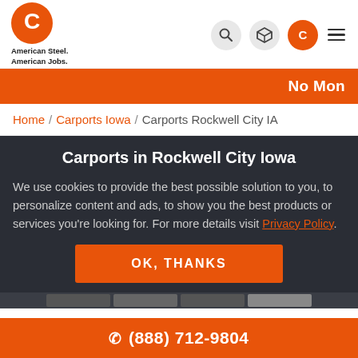[Figure (logo): American Steel carport company logo - orange circle with stylized C, text 'American Steel. American Jobs.']
No Mon
Home / Carports Iowa / Carports Rockwell City IA
Carports in Rockwell City Iowa
We use cookies to provide the best possible solution to you, to personalize content and ads, to show you the best products or services you're looking for. For more details visit Privacy Policy.
OK, THANKS
(888) 712-9804